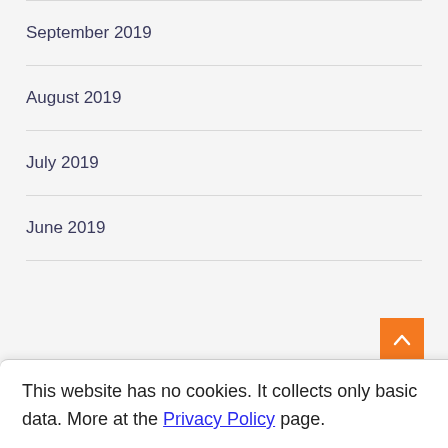September 2019
August 2019
July 2019
June 2019
This website has no cookies. It collects only basic data. More at the Privacy Policy page.